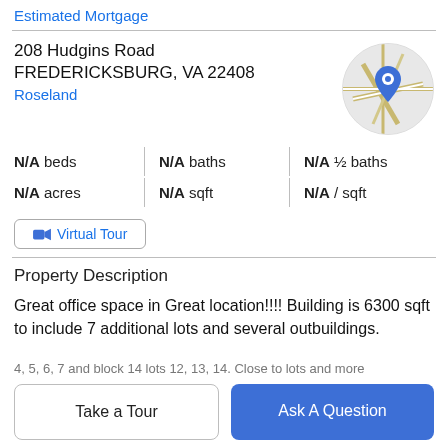Estimated Mortgage
208 Hudgins Road
FREDERICKSBURG, VA 22408
Roseland
[Figure (map): Circular map thumbnail showing a street map with a blue location pin marker]
N/A beds | N/A baths | N/A ½ baths
N/A acres | N/A sqft | N/A / sqft
Virtual Tour
Property Description
Great office space in Great location!!!! Building is 6300 sqft to include 7 additional lots and several outbuildings.
Take a Tour
Ask A Question
4, 5, 6, 7 and block 14 lots 12, 13, 14. Close to lots and more